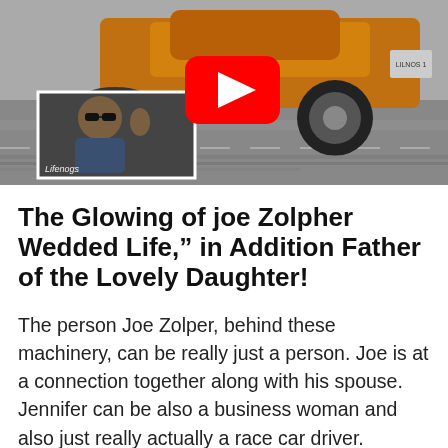[Figure (photo): A drag racing car (orange/yellow muscle car) lifting its front wheels off the track, with motion blur on the road. An inset thumbnail in the lower left shows a man wearing sunglasses sitting in a car, waving. A YouTube play button overlay is centered on the main image.]
The Glowing of joe Zolpher Wedded Life,” in Addition Father of the Lovely Daughter!
The person Joe Zolper, behind these machinery, can be really just a person. Joe is at a connection together along with his spouse. Jennifer can be also a business woman and also just really actually a race car driver. Jennifer started her job. Right soon immediately following relationship for five